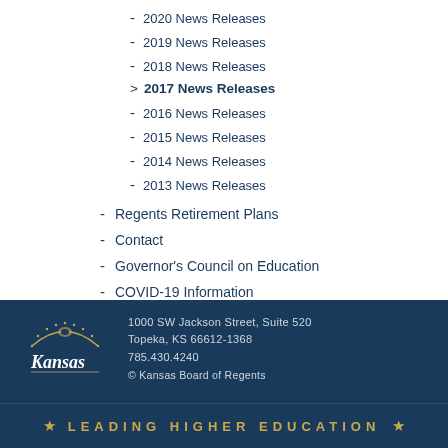- 2020 News Releases
- 2019 News Releases
- 2018 News Releases
> 2017 News Releases
- 2016 News Releases
- 2015 News Releases
- 2014 News Releases
- 2013 News Releases
- Regents Retirement Plans
- Contact
- Governor's Council on Education
- COVID-19 Information
1000 SW Jackson Street, Suite 520
Topeka, KS 66612-1368
785.430.4240
© Kansas Board of Regents
LEADING HIGHER EDUCATION